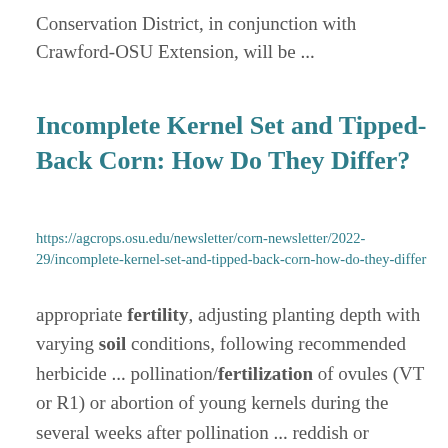Conservation District, in conjunction with Crawford-OSU Extension, will be ...
Incomplete Kernel Set and Tipped-Back Corn: How Do They Differ?
https://agcrops.osu.edu/newsletter/corn-newsletter/2022-29/incomplete-kernel-set-and-tipped-back-corn-how-do-they-differ
appropriate fertility, adjusting planting depth with varying soil conditions, following recommended herbicide ... pollination/fertilization of ovules (VT or R1) or abortion of young kernels during the several weeks after pollination ... reddish or yellowish color. In a corn ear,